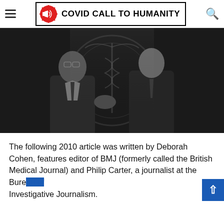COVID CALL TO HUMANITY
[Figure (photo): Black and white photograph of two men shaking hands in front of a WHO logo backdrop. The man on the left is wearing glasses and a dark suit, the man on the right is in a dark suit with a tie.]
The following 2010 article was written by Deborah Cohen, features editor of BMJ (formerly called the British Medical Journal) and Philip Carter, a journalist at the Bureau of Investigative Journalism.